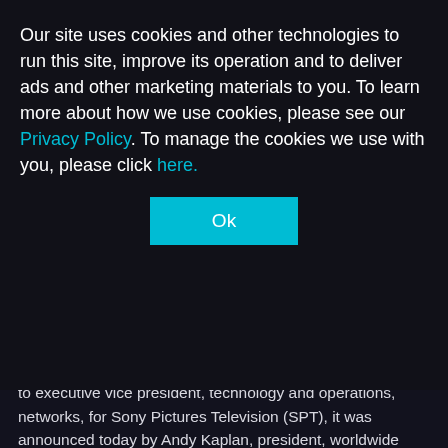Our site uses cookies and other technologies to run this site, improve its operation and to deliver ads and other marketing materials to you. To learn more about how we use cookies, please see our Privacy Policy. To manage the cookies we use with you, please click here.
Ok
to executive vice president, technology and operations, networks, for Sony Pictures Television (SPT), it was announced today by Andy Kaplan, president, worldwide networks, SPT, to whom he reports.
In this role, Billeci oversees technical infrastructure, workflow and operations strategy for SPT linear networks worldwide.  In addition to these responsibilities, he will maintain, develop and implement policies, procedures, standards and practices to create synergy across all assets in the SPT network portfolio.  Billeci will continue to work closely with strategic technology vendors and clients to develop new methods, drive trends and represent SPT's networks' agendas.